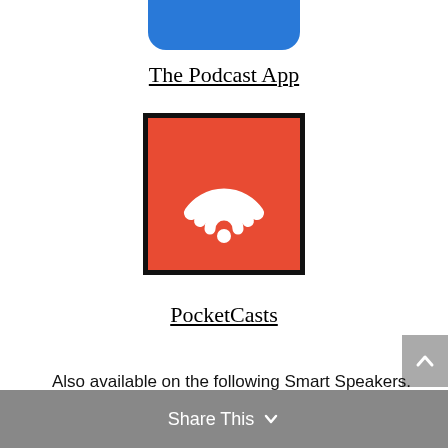[Figure (logo): Partial view of blue rounded rectangle app icon at top of page]
The Podcast App
[Figure (logo): PocketCasts app icon: red/orange square with white crescent radio-wave logo]
PocketCasts
Also available on the following Smart Speakers. Ask them to play Hank Unplugged podcast.
Share This